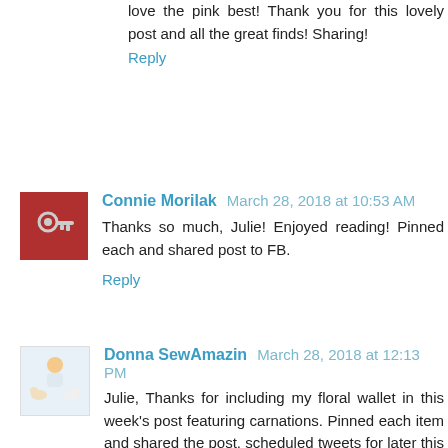love the pink best! Thank you for this lovely post and all the great finds! Sharing!
Reply
Connie Morilak  March 28, 2018 at 10:53 AM
Thanks so much, Julie! Enjoyed reading! Pinned each and shared post to FB.
Reply
Donna SewAmazin  March 28, 2018 at 12:13 PM
Julie, Thanks for including my floral wallet in this week's post featuring carnations. Pinned each item and shared the post, scheduled tweets for later this week.
Reply
Unknown  March 28, 2018 at 4:56 PM
Thank you Julie, I have shared on Pintrest, G+ and Twitter!